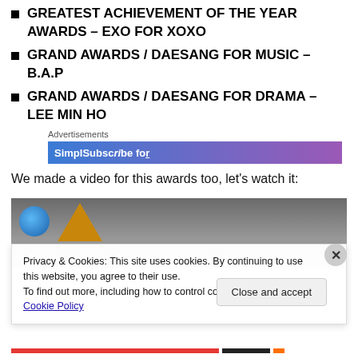GREATEST ACHIEVEMENT OF THE YEAR AWARDS – EXO FOR XOXO
GRAND AWARDS / DAESANG FOR MUSIC – B.A.P
GRAND AWARDS / DAESANG FOR DRAMA – LEE MIN HO
Advertisements
[Figure (other): Advertisement banner with blue-to-purple gradient]
We made a video for this awards too, let's watch it:
[Figure (screenshot): Video thumbnail with globe and pyramid icons on grey background]
Privacy & Cookies: This site uses cookies. By continuing to use this website, you agree to their use.
To find out more, including how to control cookies, see here: Cookie Policy
Close and accept